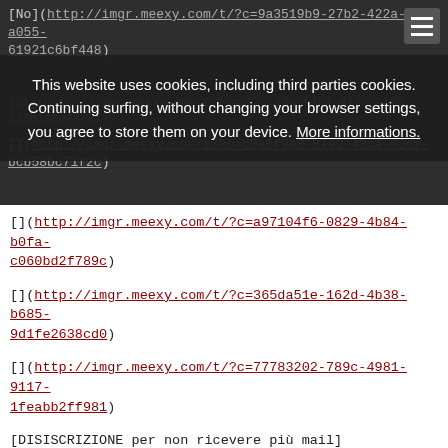[No](http://imgr.meexy.com/t/?c=9a3519b9-27b2-422a-a055-61921c6bf448)
This website uses cookies, including third parties cookies. Continuing surfing, without changing your browser settings, you agree to store them on your device. More informations.
[Si](http://imgr.meexy.com/t/?c=2f2cc10e-5751-413b-a159-123b18be46027)
[](http://imgr.meexy.com/t/?c=c0a6f9a8-87a2-43ca-93cf-bcb58bc71f2c)
[](http://imgr.meexy.com/t/?c=a97104f6-0829-4b84-b0fa-c060bd2f789c)
[](http://imgr.meexy.com/t/?c=365da51e-162d-4b38-b685-9d1fe2638cd0)
[](http://imgr.meexy.com/t/?c=77783202-789c-4981-9117-1feabb2ff981)
[DISISCRIZIONE per non ricevere più mail](http://imgr.meexy.com/t/?c=306787b7-cedd-46b5-90bb-0013b0154f63)